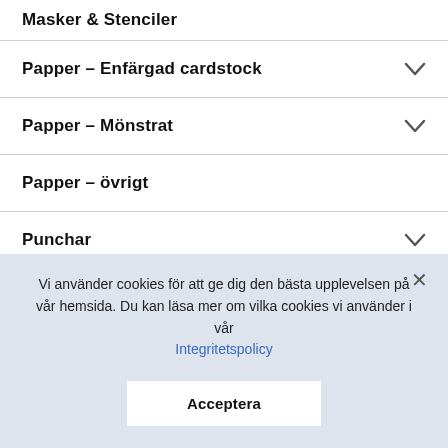Masker & Stenciler
Papper – Enfärgad cardstock
Papper – Mönstrat
Papper – övrigt
Punchar
Stämplar
Stämpeldynor och refiller
Planners
Vi använder cookies för att ge dig den bästa upplevelsen på vår hemsida. Du kan läsa mer om vilka cookies vi använder i vår Integritetspolicy
Acceptera